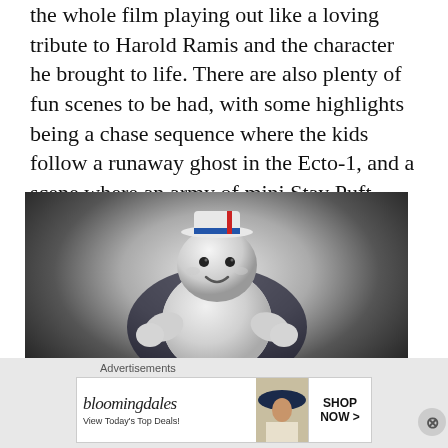the whole film playing out like a loving tribute to Harold Ramis and the character he brought to life. There are also plenty of fun scenes to be had, with some highlights being a chase sequence where the kids follow a runaway ghost in the Ecto-1, and a scene where an army of mini Stay Puft Marshmallow Men torment Gary Grooberson in a Walmart.
[Figure (photo): A mini Stay Puft Marshmallow Man character from Ghostbusters: Afterlife, shown against a dark background. The white marshmallow figure has a small sailor hat with a red stripe and blue band, small black eyes, and a slight smile.]
Advertisements
[Figure (screenshot): Bloomingdale's advertisement banner. Shows the bloomingdales logo in stylized text, 'View Today's Top Deals!' text on the left, an image of a woman in a wide-brim hat in the center, and a 'SHOP NOW >' button on the right.]